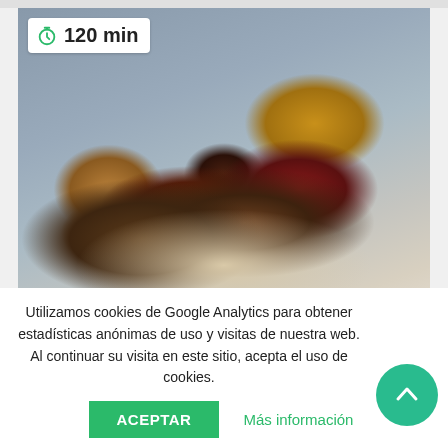[Figure (photo): Food photo showing seared tuna or meat pieces with brown sauce on a white plate, accompanied by mushroom slices and golden fried items. Timer badge in top left corner shows a clock icon and '120 min'.]
Utilizamos cookies de Google Analytics para obtener estadísticas anónimas de uso y visitas de nuestra web. Al continuar su visita en este sitio, acepta el uso de cookies.
ACEPTAR
Más información